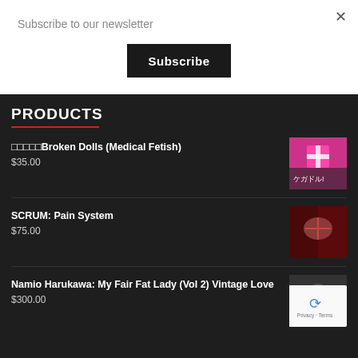Subscribe to our newsletter
Subscribe
PRODUCTS
□□□□□Broken Dolls (Medical Fetish)
$35.00
SCRUM: Pain System
$75.00
Namio Harukawa: My Fair Fat Lady (Vol 2) Vintage Love
$300.00